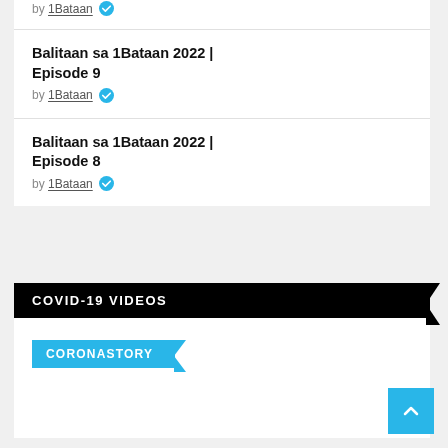by 1Bataan
Balitaan sa 1Bataan 2022 | Episode 9
by 1Bataan
Balitaan sa 1Bataan 2022 | Episode 8
by 1Bataan
COVID-19 VIDEOS
CORONASTORY